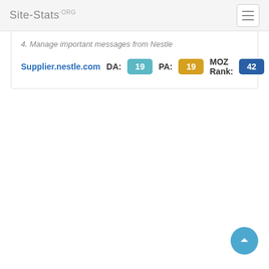Site-Stats.ORG
4. Manage important messages from Nestle
Supplier.nestle.com  DA: 19  PA: 19  MOZ Rank: 42